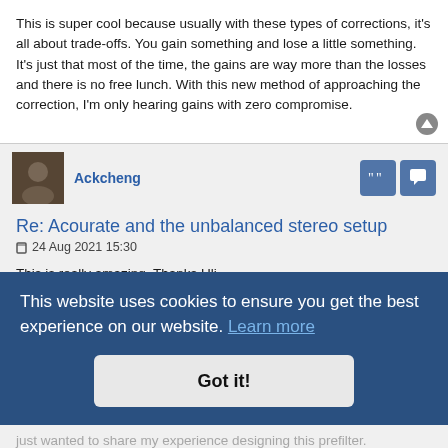This is super cool because usually with these types of corrections, it's all about trade-offs. You gain something and lose a little something. It's just that most of the time, the gains are way more than the losses and there is no free lunch. With this new method of approaching the correction, I'm only hearing gains with zero compromise.
Ackcheng
Re: Acourate and the unbalanced stereo setup
24 Aug 2021 15:30
This is really amazing. Thanks Uli
jvvita
Re: Acourate and the unbalanced stereo setup
07 Sep 2021 15:15
Hello,
just wanted to share my experience designing this prefilter.
This website uses cookies to ensure you get the best experience on our website. Learn more
Got it!